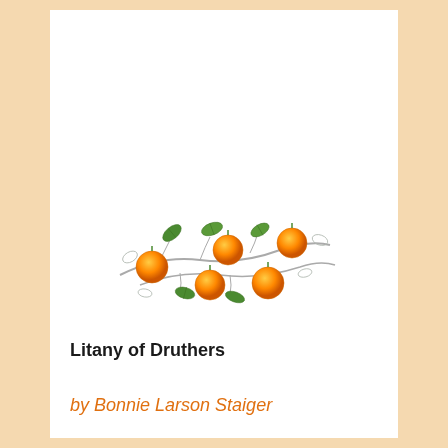[Figure (illustration): Illustration of an orange tree branch with five oranges and green leaves, rendered in a watercolor/botanical style with delicate line-drawn branches and leaves.]
Litany of Druthers
by Bonnie Larson Staiger